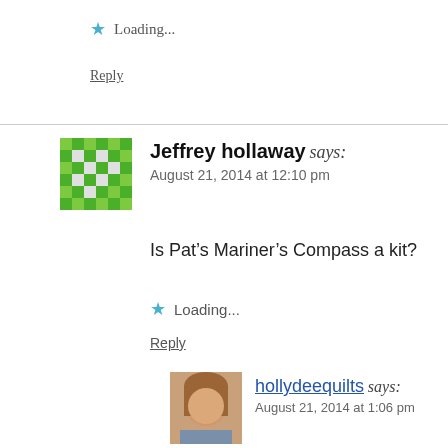Loading...
Reply
Jeffrey hollaway says:
August 21, 2014 at 12:10 pm
Is Pat's Mariner's Compass a kit?
Loading...
Reply
[Figure (photo): Profile photo of hollydeequilts, a woman with light brown hair]
hollydeequilts says:
August 21, 2014 at 1:06 pm
Pat's Mariner's Compass is not a kit, but you c... Posies 281-337-1213 and tell her you liked it. Mariner's Compass that has very similar fabri...